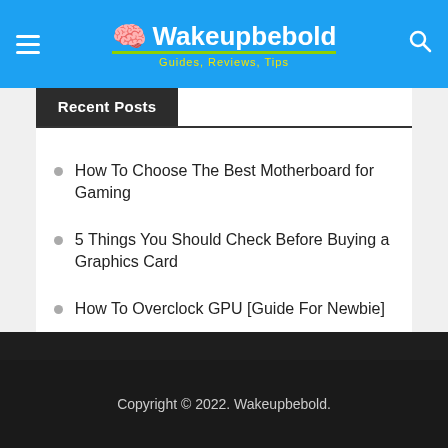Wakeupbebold — Guides, Reviews, Tips
Recent Posts
How To Choose The Best Motherboard for Gaming
5 Things You Should Check Before Buying a Graphics Card
How To Overclock GPU [Guide For Newbie]
Your Toolbox for Choosing an Ideal Office Space
How To Convert File Online : Best Online Converter
Copyright © 2022. Wakeupbebold.